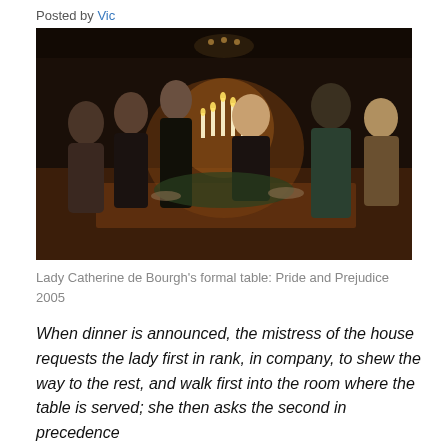Posted by Vic
[Figure (photo): A formal dinner scene from Pride and Prejudice 2005, showing Lady Catherine de Bourgh's table with candelabras, guests in Regency-era attire standing around an ornately set dining table in a dark, richly decorated room.]
Lady Catherine de Bourgh's formal table: Pride and Prejudice 2005
When dinner is announced, the mistress of the house requests the lady first in rank, in company, to shew the way to the rest, and walk first into the room where the table is served; she then asks the second in precedence